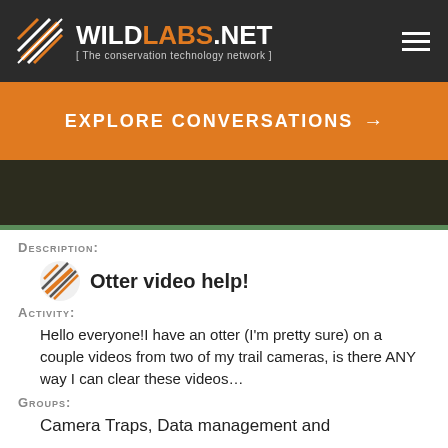WILDLABS.NET [ The conservation technology network ]
EXPLORE CONVERSATIONS →
Description:
Otter video help!
Activity:
Hello everyone!I have an otter (I'm pretty sure) on a couple videos from two of my trail cameras, is there ANY way I can clear these videos...
Groups:
Camera Traps, Data management and...